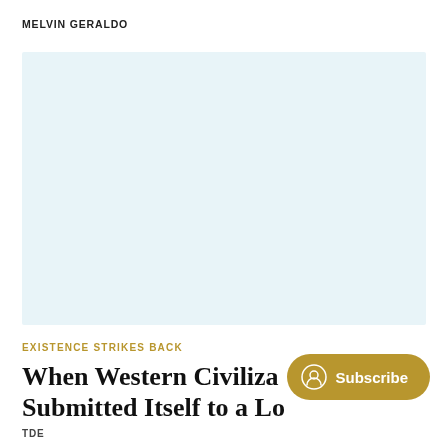MELVIN GERALDO
[Figure (illustration): Light blue rectangular placeholder image area]
EXISTENCE STRIKES BACK
When Western Civilization Submitted Itself to a Lo
TDE